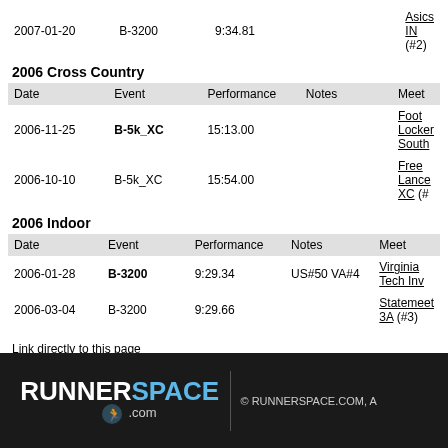| Date | Event | Performance | Notes | Meet |
| --- | --- | --- | --- | --- |
| 2007-01-20 | B-3200 | 9:34.81 |  | Asics IN (#2) |
2006 Cross Country
| Date | Event | Performance | Notes | Meet |
| --- | --- | --- | --- | --- |
| 2006-11-25 | B-5k_XC | 15:13.00 |  | Foot Locker South |
| 2006-10-10 | B-5k_XC | 15:54.00 |  | Free Lance XC (# |
2006 Indoor
| Date | Event | Performance | Notes | Meet |
| --- | --- | --- | --- | --- |
| 2006-01-28 | B-3200 | 9:29.34 | US#50 VA#4 | Virginia Tech Inv |
| 2006-03-04 | B-3200 | 9:29.66 |  | Statemeet 3A (#3) |
Link directly to this page
RUNNERSPACE.com © RUNNERSPACE.COM, A